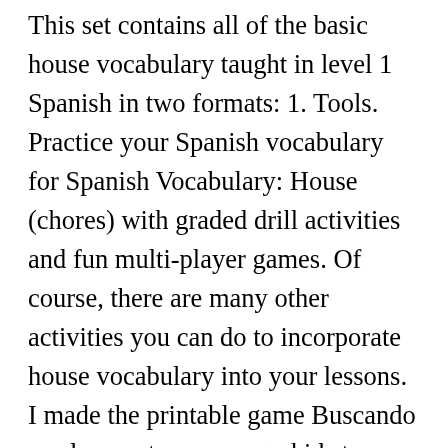This set contains all of the basic house vocabulary taught in level 1 Spanish in two formats: 1. Tools. Practice your Spanish vocabulary for Spanish Vocabulary: House (chores) with graded drill activities and fun multi-player games. Of course, there are many other activities you can do to incorporate house vocabulary into your lessons. I made the printable game Buscando por la casa to encourage kids to use Spanish house vocabulary in natural sentences. Use this lesson plan to improve Spanish vocabulary, grammar and pronunciation. Spanish Vocabulary for Household Items. You can find printable hunts in Treasure Hunts and Scavenger Hunts, and several of them focus on household words.